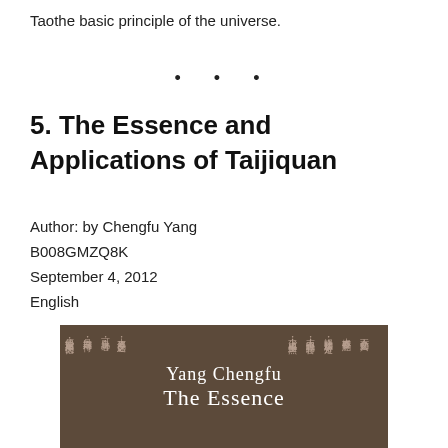Taothe basic principle of the universe.
5. The Essence and Applications of Taijiquan
Author: by Chengfu Yang
B008GMZQ8K
September 4, 2012
English
[Figure (photo): Book cover of 'Yang Chengfu - The Essence' with Chinese calligraphic text on a dark brown background]